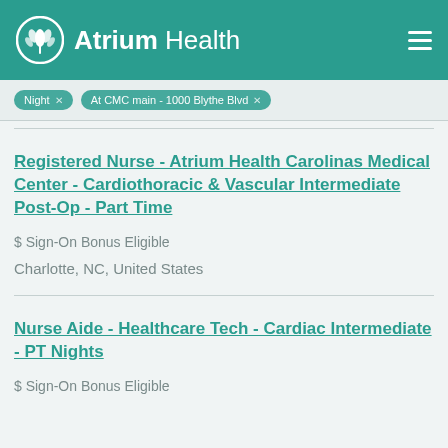Atrium Health
Night | At CMC main - 1000 Blythe Blvd |
Registered Nurse - Atrium Health Carolinas Medical Center - Cardiothoracic & Vascular Intermediate Post-Op - Part Time
$ Sign-On Bonus Eligible
Charlotte, NC, United States
Nurse Aide - Healthcare Tech - Cardiac Intermediate - PT Nights
$ Sign-On Bonus Eligible